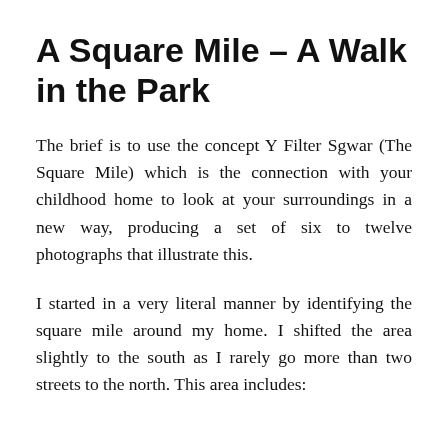A Square Mile – A Walk in the Park
The brief is to use the concept Y Filter Sgwar (The Square Mile) which is the connection with your childhood home to look at your surroundings in a new way, producing a set of six to twelve photographs that illustrate this.
I started in a very literal manner by identifying the square mile around my home. I shifted the area slightly to the south as I rarely go more than two streets to the north. This area includes:
Somewhere in a partial sentence that continues...